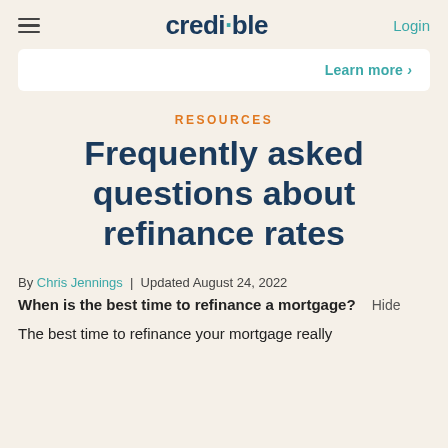credible  Login
Learn more >
RESOURCES
Frequently asked questions about refinance rates
By Chris Jennings | Updated August 24, 2022
When is the best time to refinance a mortgage? Hide
The best time to refinance your mortgage really